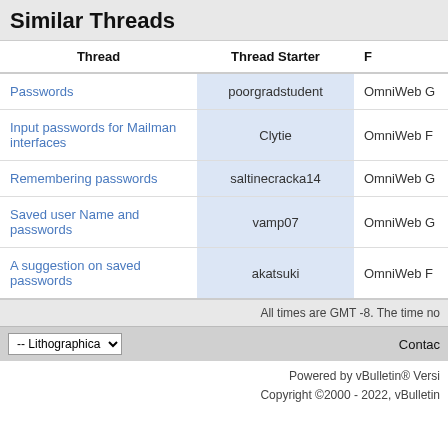Similar Threads
| Thread | Thread Starter | F |
| --- | --- | --- |
| Passwords | poorgradstudent | OmniWeb G |
| Input passwords for Mailman interfaces | Clytie | OmniWeb F |
| Remembering passwords | saltinecracka14 | OmniWeb G |
| Saved user Name and passwords | vamp07 | OmniWeb G |
| A suggestion on saved passwords | akatsuki | OmniWeb F |
All times are GMT -8. The time no
-- Lithographica
Contac
Powered by vBulletin® Versi
Copyright ©2000 - 2022, vBulletin